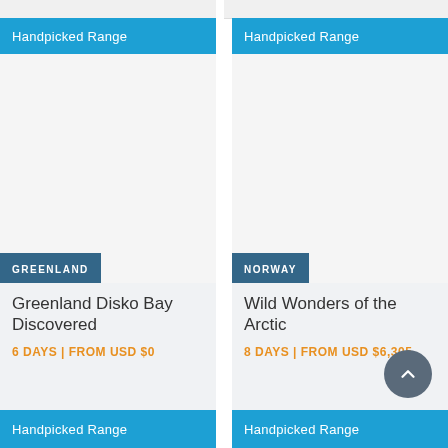Handpicked Range
Handpicked Range
GREENLAND
Greenland Disko Bay Discovered
6 DAYS | FROM USD $0
Handpicked Range
NORWAY
Wild Wonders of the Arctic
8 DAYS | FROM USD $6,305
Handpicked Range